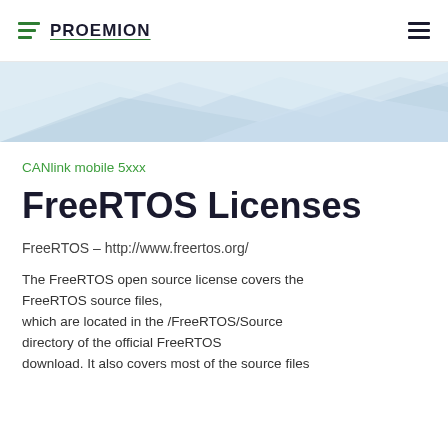PROEMION
[Figure (illustration): Light blue geometric banner with polygonal shapes suggesting a modern tech background]
CANlink mobile 5xxx
FreeRTOS Licenses
FreeRTOS – http://www.freertos.org/
The FreeRTOS open source license covers the FreeRTOS source files, which are located in the /FreeRTOS/Source directory of the official FreeRTOS download. It also covers most of the source files